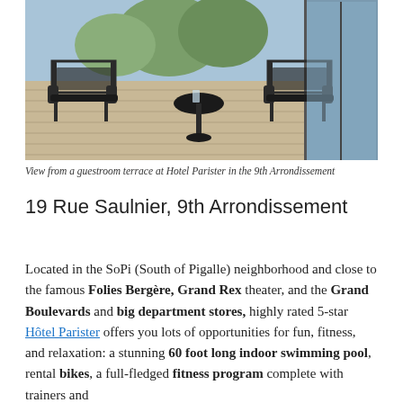[Figure (photo): Outdoor terrace of a guestroom at Hotel Parister showing two black metal chairs and a small round table on a wooden deck, with glass door in background]
View from a guestroom terrace at Hotel Parister in the 9th Arrondissement
19 Rue Saulnier, 9th Arrondissement
Located in the SoPi (South of Pigalle) neighborhood and close to the famous Folies Bergère, Grand Rex theater, and the Grand Boulevards and big department stores, highly rated 5-star Hôtel Parister offers you lots of opportunities for fun, fitness, and relaxation: a stunning 60 foot long indoor swimming pool, rental bikes, a full-fledged fitness program complete with trainers and